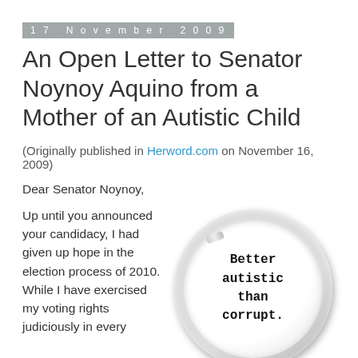17 November 2009
An Open Letter to Senator Noynoy Aquino from a Mother of an Autistic Child
(Originally published in Herword.com on November 16, 2009)
Dear Senator Noynoy,
Up until you announced your candidacy, I had given up hope in the election process of 2010. While I have exercised my voting rights judiciously in every
[Figure (photo): A round pin button badge with the text 'Better autistic than corrupt.' printed in monospace font on a white background.]